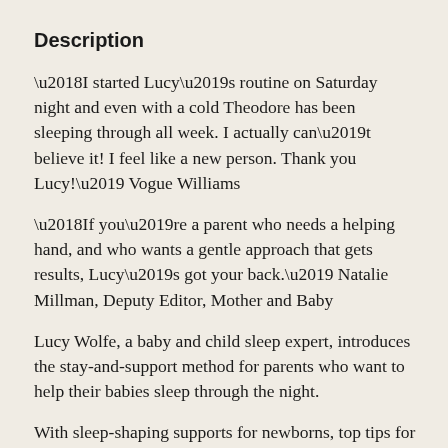Description
‘I started Lucy’s routine on Saturday night and even with a cold Theodore has been sleeping through all week. I actually can’t believe it! I feel like a new person. Thank you Lucy!’ Vogue Williams
‘If you’re a parent who needs a helping hand, and who wants a gentle approach that gets results, Lucy’s got your back.’ Natalie Millman, Deputy Editor, Mother and Baby
Lucy Wolfe, a baby and child sleep expert, introduces the stay-and-support method for parents who want to help their babies sleep through the night.
With sleep-shaping supports for newborns, top tips for toddlers, and advice for older children up to the age of six, Lucy’s approach provides a gentle and emotionally considerate way to get your little one to sleep – without leaving them alone to cry, ensuring they feel loved, safe and secure at all times.